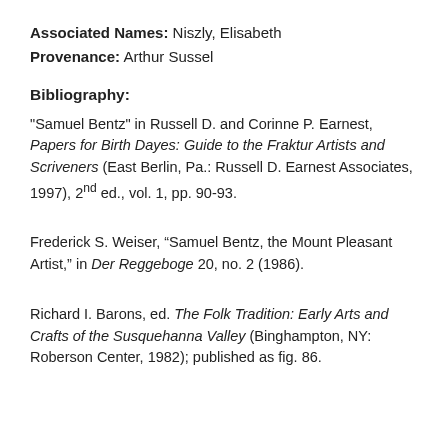Associated Names: Niszly, Elisabeth
Provenance: Arthur Sussel
Bibliography:
"Samuel Bentz" in Russell D. and Corinne P. Earnest, Papers for Birth Dayes: Guide to the Fraktur Artists and Scriveners (East Berlin, Pa.: Russell D. Earnest Associates, 1997), 2nd ed., vol. 1, pp. 90-93.
Frederick S. Weiser, “Samuel Bentz, the Mount Pleasant Artist,” in Der Reggeboge 20, no. 2 (1986).
Richard I. Barons, ed. The Folk Tradition: Early Arts and Crafts of the Susquehanna Valley (Binghampton, NY: Roberson Center, 1982); published as fig. 86.